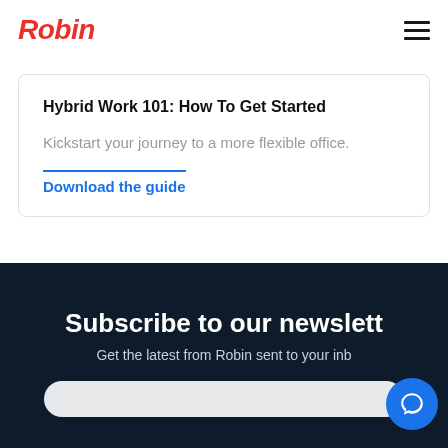Robin
Hybrid Work 101: How To Get Started
Kickstart your journey to a more flexible office.
Download the guide
Subscribe to our newslett
Get the latest from Robin sent to your inb